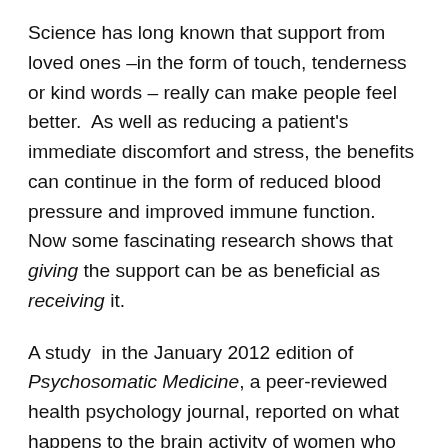Science has long known that support from loved ones –in the form of touch, tenderness or kind words – really can make people feel better.  As well as reducing a patient's immediate discomfort and stress, the benefits can continue in the form of reduced blood pressure and improved immune function.  Now some fascinating research shows that giving the support can be as beneficial as receiving it.
A study  in the January 2012 edition of Psychosomatic Medicine, a peer-reviewed health psychology journal, reported on what happens to the brain activity of women who provide support to their partners.  In the study, functional magnetic resonance imaging (fMRI) was used to scan the brains of 20 young women whose boyfriends were standing just outside the scanner.  As the women's brains were being scanned, the boyfriends were subjected